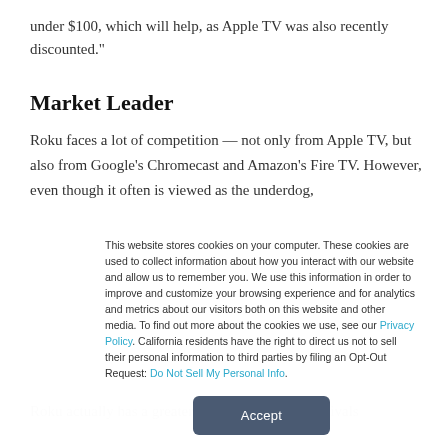under $100, which will help, as Apple TV was also recently discounted."
Market Leader
Roku faces a lot of competition — not only from Apple TV, but also from Google's Chromecast and Amazon's Fire TV. However, even though it often is viewed as the underdog,
Roku actually has a greater market share than its rivals
This website stores cookies on your computer. These cookies are used to collect information about how you interact with our website and allow us to remember you. We use this information in order to improve and customize your browsing experience and for analytics and metrics about our visitors both on this website and other media. To find out more about the cookies we use, see our Privacy Policy. California residents have the right to direct us not to sell their personal information to third parties by filing an Opt-Out Request: Do Not Sell My Personal Info.
Accept